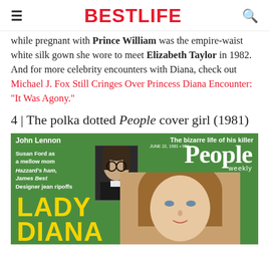BESTLIFE
while pregnant with Prince William was the empire-waist white silk gown she wore to meet Elizabeth Taylor in 1982. And for more celebrity encounters with Diana, check out Michael J. Fox Still Cringes Over Princess Diana Encounter: "It Was Agony."
4 | The polka dotted People cover girl (1981)
[Figure (photo): People Weekly magazine cover from June 22, 1981 featuring John Lennon photo inset with Lady Diana on the cover. Green background with headlines: 'John Lennon - The bizarre life of his killer', 'Susan Ford as a mellow mom', 'Hazzard's ham, James Best', 'Designer jean ripoffs'. Large yellow text reads 'LADY DIANA'.]